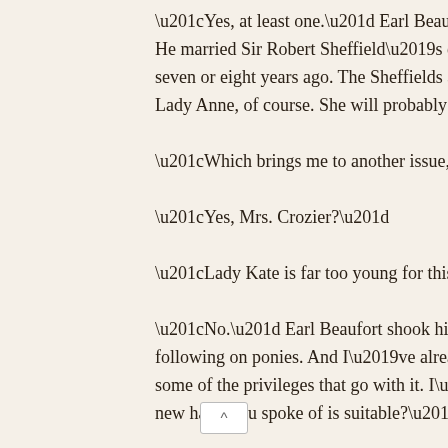“Yes, at least one.” Earl Beaufort picked up the letter and wave… He married Sir Robert Sheffield’s eldest daughter.” He scanned… seven or eight years ago. The Sheffields all ride the hounds. Yo… Lady Anne, of course. She will probably participate.”
“Which brings me to another issue, my lord.”
“Yes, Mrs. Crozier?”
“Lady Kate is far too young for this social engagement. She sho…
“No.” Earl Beaufort shook his head. “This is not a formal subsc… following on ponies. And I’ve already sent a note back indicatin… some of the privileges that go with it. I’m asking her to grow u… new habit you spoke of is suitable?”
“Indeed, my lord, I saw to the tailoring. It has a very long skirt…
“Oh, very good. Have you instructed her on how to gather it fo…
“Yes, my lord.”